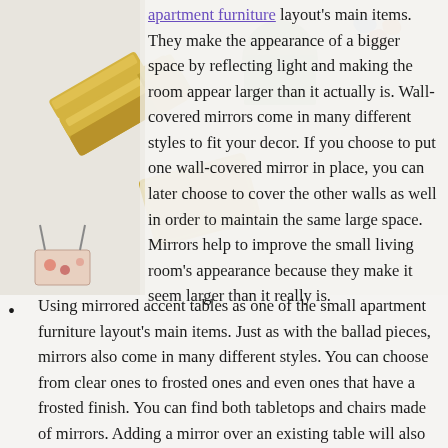[Figure (photo): Background photo of desk items including a gold stapler, binder clips, paper clips, and other stationery items on a light surface]
apartment furniture layout's main items. They make the appearance of a bigger space by reflecting light and making the room appear larger than it actually is. Wall-covered mirrors come in many different styles to fit your decor. If you choose to put one wall-covered mirror in place, you can later choose to cover the other walls as well in order to maintain the same large space. Mirrors help to improve the small living room's appearance because they make it seem larger than it really is.
Using mirrored accent tables as one of the small apartment furniture layout's main items. Just as with the ballad pieces, mirrors also come in many different styles. You can choose from clear ones to frosted ones and even ones that have a frosted finish. You can find both tabletops and chairs made of mirrors. Adding a mirror over an existing table will also help to add some spice to your apartment.